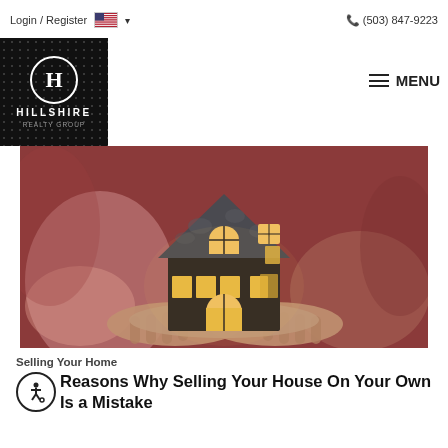Login / Register   (503) 847-9223
[Figure (logo): Hillshire Realty Group logo — circular H monogram on black background with dot pattern]
MENU
[Figure (photo): Person's hands holding a small illuminated miniature house model with glowing windows, against a blurred dark red/mauve background]
Selling Your Home
Reasons Why Selling Your House On Your Own Is a Mistake